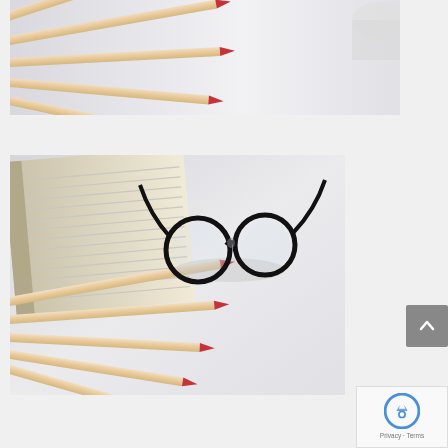[Figure (photo): Top-down view of several wooden colored pencils with pink/red tips fanned out from the left side, against a white surface with a partial white cup visible in the top right corner.]
[Figure (photo): Top-down view of a lined notebook in the upper left, several colored pencils with pink/red tips fanned out from the lower left, and a pair of black-framed glasses resting in the center-right area, all on a white surface.]
[Figure (other): reCAPTCHA widget showing the Google reCAPTCHA logo with Privacy and Terms links.]